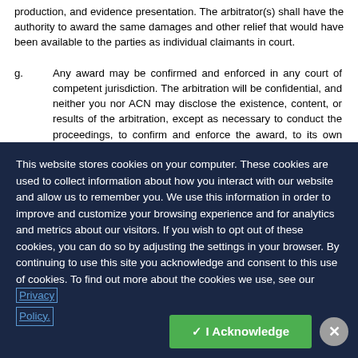production, and evidence presentation. The arbitrator(s) shall have the authority to award the same damages and other relief that would have been available to the parties as individual claimants in court.
g.          Any award may be confirmed and enforced in any court of competent jurisdiction. The arbitration will be confidential, and neither you nor ACN may disclose the existence, content, or results of the arbitration, except as necessary to conduct the proceedings, to confirm and enforce the award, to its own legal or financial advisors,
This website stores cookies on your computer. These cookies are used to collect information about how you interact with our website and allow us to remember you. We use this information in order to improve and customize your browsing experience and for analytics and metrics about our visitors. If you wish to opt out of these cookies, you can do so by adjusting the settings in your browser. By continuing to use this site you acknowledge and consent to this use of cookies. To find out more about the cookies we use, see our Privacy Policy.